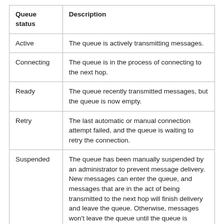| Queue status | Description |
| --- | --- |
| Active | The queue is actively transmitting messages. |
| Connecting | The queue is in the process of connecting to the next hop. |
| Ready | The queue recently transmitted messages, but the queue is now empty. |
| Retry | The last automatic or manual connection attempt failed, and the queue is waiting to retry the connection. |
| Suspended | The queue has been manually suspended by an administrator to prevent message delivery. New messages can enter the queue, and messages that are in the act of being transmitted to the next hop will finish delivery and leave the queue. Otherwise, messages won't leave the queue until the queue is |